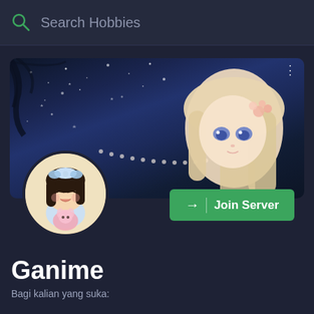Search Hobbies
[Figure (screenshot): Discord server card with anime banner image showing a blonde anime girl with flowers in hair against a starry night sky, and a profile avatar of a chibi dark-haired anime girl holding a pink creature]
Ganime
Bagi kalian yang suka: